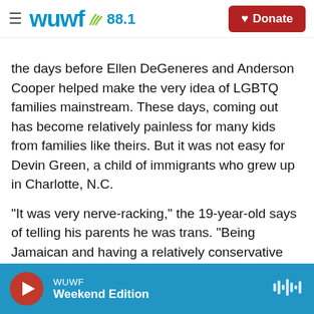wuwf 88.1 — Donate
the days before Ellen DeGeneres and Anderson Cooper helped make the very idea of LGBTQ families mainstream. These days, coming out has become relatively painless for many kids from families like theirs. But it was not easy for Devin Green, a child of immigrants who grew up in Charlotte, N.C.
"It was very nerve-racking," the 19-year-old says of telling his parents he was trans. "Being Jamaican and having a relatively conservative upbringing, I just didn't know what to expect."
WUWF — Weekend Edition